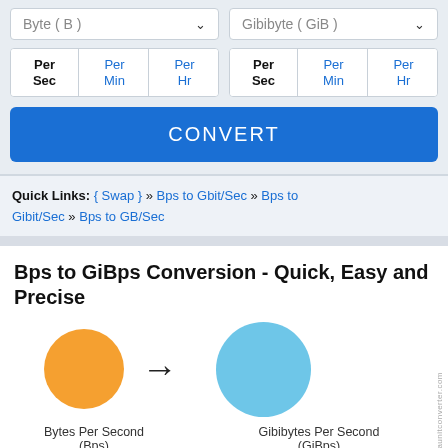[Figure (screenshot): Unit converter UI with two dropdown selectors showing 'Byte (B)' and 'Gibibyte (GiB)', each with Per Sec / Per Min / Per Hr toggle buttons, and a blue CONVERT button]
Quick Links: { Swap } » Bps to Gbit/Sec » Bps to Gibit/Sec » Bps to GB/Sec
Bps to GiBps Conversion - Quick, Easy and Precise
[Figure (infographic): Orange circle (Bytes Per Second / Bps) with arrow pointing to larger light-blue circle (Gibibytes Per Second / GiBps)]
Bytes Per Second (Bps)   Gibibytes Per Second (GiBps)